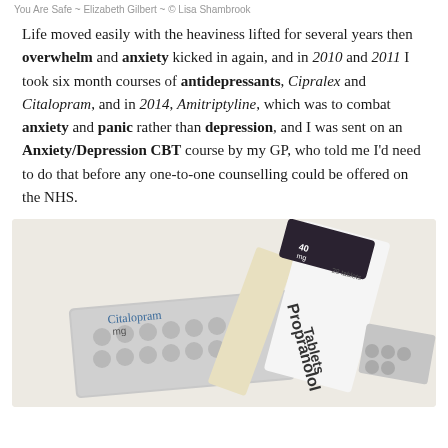You Are Safe ~ Elizabeth Gilbert ~ © Lisa Shambrook
Life moved easily with the heaviness lifted for several years then overwhelm and anxiety kicked in again, and in 2010 and 2011 I took six month courses of antidepressants, Cipralex and Citalopram, and in 2014, Amitriptyline, which was to combat anxiety and panic rather than depression, and I was sent on an Anxiety/Depression CBT course by my GP, who told me I'd need to do that before any one-to-one counselling could be offered on the NHS.
[Figure (photo): Photograph of medication blister packs and boxes including Citalopram tablets and Propranolol Tablets (40mg, 28 tablets), arranged on a light beige background.]